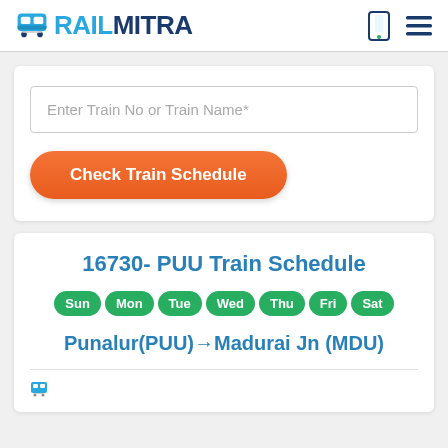RAILMITRA
Enter Train No or Train Name*
Check Train Schedule
16730- PUU Train Schedule
Sun Mon Tue Wed Thu Fri Sat
Punalur(PUU)→Madurai Jn (MDU)